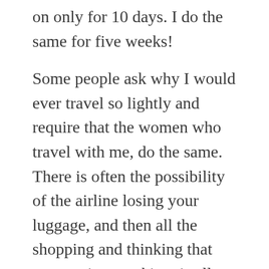on only for 10 days. I do the same for five weeks!
Some people ask why I would ever travel so lightly and require that the women who travel with me, do the same. There is often the possibility of the airline losing your luggage, and then all the shopping and thinking that you put into packing, is all lost. My first trip to Italy 11 years ago, began with lost luggage for three days. Luckily I was in the same hotel in Florence for those three days and could retrieve the suitcases before we moved on to other cities. Checked luggage is nearly three times more likely to arrive late in Europe than in the U.S. due to complex airport transfers and unexpected strikes.